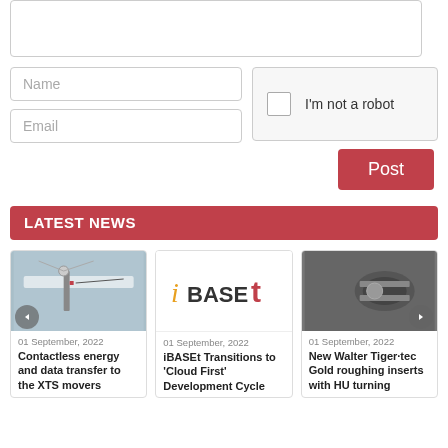[Figure (screenshot): Web form with textarea, Name input, Email input, CAPTCHA checkbox, and Post button]
LATEST NEWS
[Figure (photo): News card 1: Contactless energy and data transfer to the XTS movers - 01 September, 2022]
[Figure (logo): News card 2: iBASEt logo - iBASEt Transitions to 'Cloud First' Development Cycle - 01 September, 2022]
[Figure (photo): News card 3: New Walter Tiger·tec Gold roughing inserts with HU turning - 01 September, 2022]